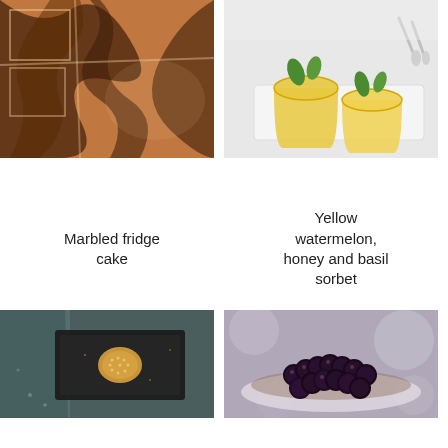[Figure (photo): Overhead view of marbled chocolate fridge cake slices on a white surface, showing swirled dark and milk chocolate pattern]
Marbled fridge cake
[Figure (photo): Two glasses filled with yellow watermelon sorbet garnished with fresh basil leaves, placed on a white wooden board with spoons nearby]
Yellow watermelon, honey and basil sorbet
[Figure (photo): Close-up of a dark tray with a sesame-coated golden treat and scattered grains on a dark background with a teal cloth]
[Figure (photo): Close-up of blackberries piled on a plate dusted with cocoa powder on a blurred background]